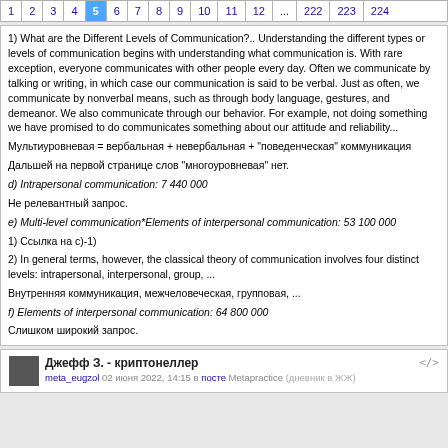1 2 3 4 5 6 7 8 9 10 11 12 ... 222 223 224
1) What are the Different Levels of Communication?.. Understanding the different types or levels of communication begins with understanding what communication is. With rare exception, everyone communicates with other people every day. Often we communicate by talking or writing, in which case our communication is said to be verbal. Just as often, we communicate by nonverbal means, such as through body language, gestures, and demeanor. We also communicate through our behavior. For example, not doing something we have promised to do communicates something about our attitude and reliability...
Мультиуровневая = вербальная + невербальная + "поведенческая" коммуникация
Дальшей на первой странице слов "многоуровневая" нет.
d) Intrapersonal communication: 7 440 000
Не релевантный запрос.
e) Multi-level communication*Elements of interpersonal communication: 53 100 000
1) Ссылка на с)-1)
2) In general terms, however, the classical theory of communication involves four distinct levels: intrapersonal, interpersonal, group, ...
Внутренняя коммуникация, межчеловеческая, групповая, ...
f) Elements of interpersonal communication: 64 800 000
Слишком широкий запрос.
Джефф З. - криптонеллер
meta_eugzol 02 июня 2022, 14:15 в посте Metapractice (дневник в ЖЖ)